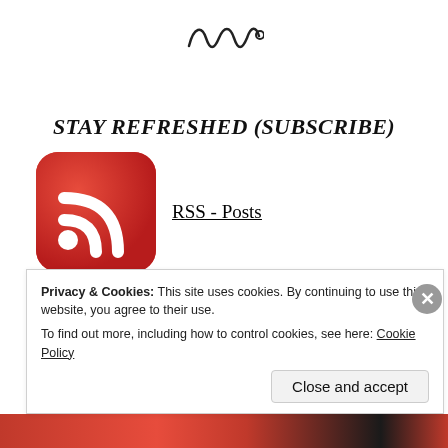[Figure (illustration): Decorative swirl/ornament divider in black]
STAY REFRESHED (SUBSCRIBE)
[Figure (logo): RSS feed icon — red rounded square with white RSS signal waves]
RSS - Posts
FOLLOW BLOG VIA EMAIL
Privacy & Cookies: This site uses cookies. By continuing to use this website, you agree to their use.
To find out more, including how to control cookies, see here: Cookie Policy
Close and accept